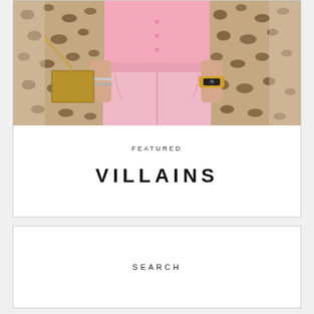[Figure (photo): Fashion photo showing torso of person wearing pink top and pink high-waist jeans/pants, with leopard print jacket/cardigan on sides, gold watch on right wrist, silver bracelets on left wrist, and a gold chain bag.]
FEATURED
VILLAINS
SEARCH